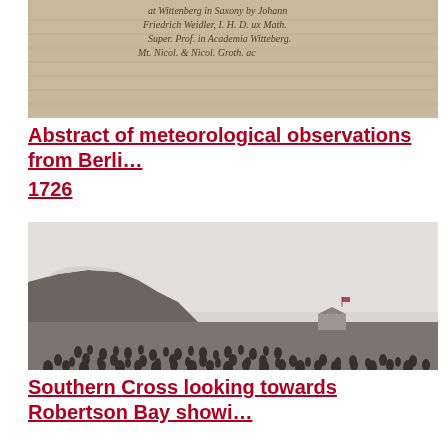[Figure (photo): Photograph of a handwritten manuscript page with cursive script text, beige/tan paper background. Text reads partial lines about Wittenberg in Saxony by Johann Friedrich Weidler.]
Abstract of meteorological observations from Berli…
1726
[Figure (photo): Black and white photograph of Southern Cross looking towards Robertson Bay, showing a large colony of penguins in the foreground on flat ground, a building with a flag in the middle distance, and snow-covered cliffs/mountains in the background.]
Southern Cross looking towards Robertson Bay showi…